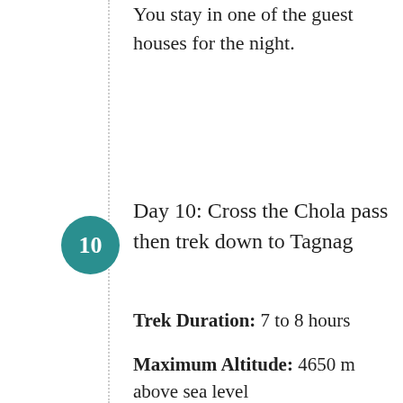You stay in one of the guest houses for the night.
Day 10: Cross the Chola pass then trek down to Tagnag
Trek Duration: 7 to 8 hours
Maximum Altitude: 4650 m above sea level
On the tenth day of this trek, you head towards Tagnag from Dzongla